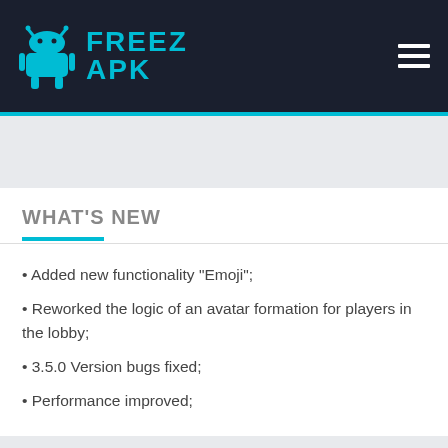FREEZ APK
WHAT'S NEW
• Added new functionality "Emoji";
• Reworked the logic of an avatar formation for players in the lobby;
• 3.5.0 Version bugs fixed;
• Performance improved;
VIDEO